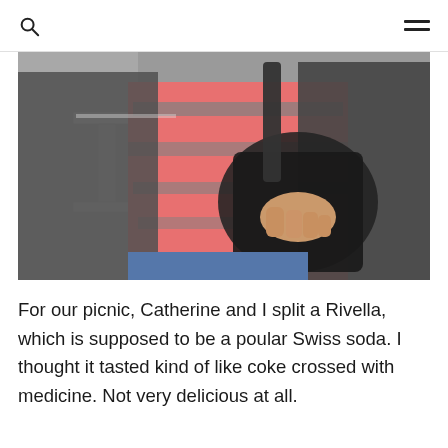[search icon] [menu icon]
[Figure (photo): Close-up photo of a person's torso wearing a pink and grey striped shirt with a dark grey cardigan/jacket, holding a black bag strap, standing outdoors near what appears to be a metal bench or seat.]
For our picnic, Catherine and I split a Rivella, which is supposed to be a poular Swiss soda. I thought it tasted kind of like coke crossed with medicine. Not very delicious at all.